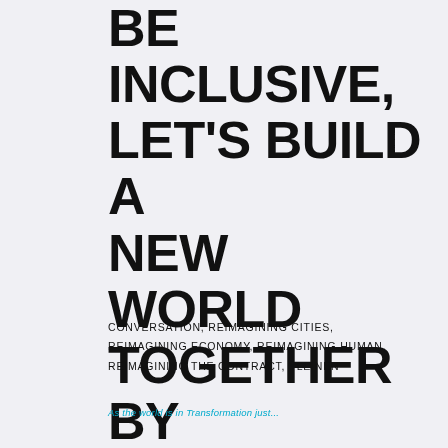BE INCLUSIVE, LET'S BUILD A NEW WORLD TOGETHER BY YLVA // CONVERSATION
CONVERSATION, REIMAGINING CITIES, REIMAGINING ECONOMY, REIMAGINING HUMAN, REIMAGINING THE CONTRACT, YLEINEN
As the world is in Transformation just...